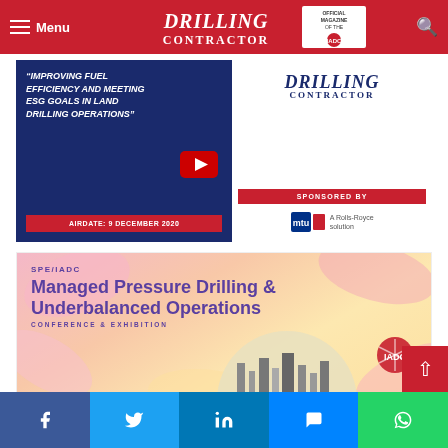Menu | DRILLING CONTRACTOR — Official Magazine of the IADC
[Figure (screenshot): Drilling Contractor webinar ad: 'Improving Fuel Efficiency and Meeting ESG Goals in Land Drilling Operations' — Airdate: 9 December 2020, sponsored by MTU (A Rolls-Royce solution), with YouTube play button icon and Drilling Contractor logo.]
[Figure (screenshot): SPE/IADC Managed Pressure Drilling & Underbalanced Operations Conference & Exhibition banner with flower background and city skyline, featuring IADC logo.]
Facebook | Twitter | LinkedIn | Messenger | WhatsApp